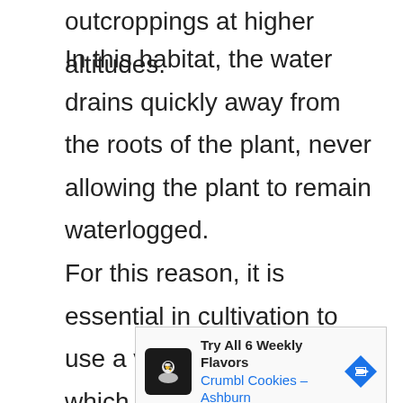outcroppings at higher altitudes.
In this habitat, the water drains quickly away from the roots of the plant, never allowing the plant to remain waterlogged.
For this reason, it is essential in cultivation to use a very porous soil, which will allow quick drainage.
[Figure (other): Advertisement banner for Crumbl Cookies - Ashburn: Try All 6 Weekly Flavors, with a chef icon logo and navigation arrow icon]